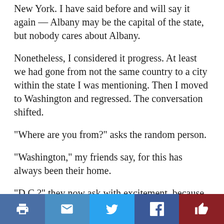New York. I have said before and will say it again — Albany may be the capital of the state, but nobody cares about Albany.
Nonetheless, I considered it progress. At least we had gone from not the same country to a city within the state I was mentioning. Then I moved to Washington and regressed. The conversation shifted.
“Where are you from?” asks the random person.
“Washington,” my friends say, for this has always been their home.
“D.C.?” they now ask with excitement, because it is the only city people seem to pay attention to.
The same happens if I simply reply that I live in Washington. I should start adding “state” at the end by default. I bet that would help. Sure, Washington D.C. is popular... to pinpo...
[Figure (infographic): Social sharing toolbar with five buttons: print (dark blue), email (medium blue), Twitter (light blue), Facebook (navy blue), and like/thumbs-up (dark red).]